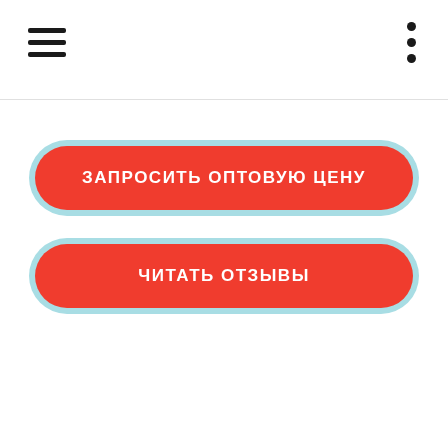ЗАПРОСИТЬ ОПТОВУЮ ЦЕНУ
ЧИТАТЬ ОТЗЫВЫ